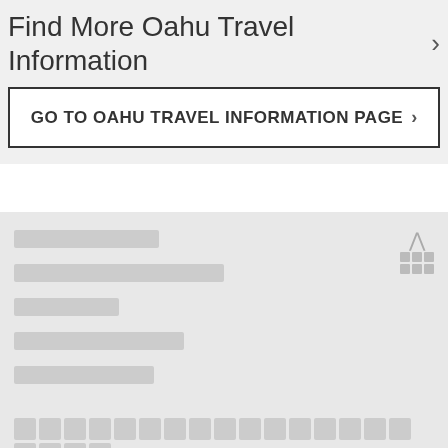Find More Oahu Travel Information ›
GO TO OAHU TRAVEL INFORMATION PAGE ›
[placeholder navigation links]
[footer content blocks]